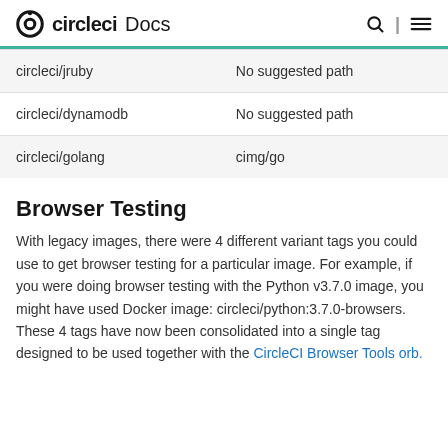circleci Docs
| circleci/jruby | No suggested path |
| circleci/dynamodb | No suggested path |
| circleci/golang | cimg/go |
Browser Testing
With legacy images, there were 4 different variant tags you could use to get browser testing for a particular image. For example, if you were doing browser testing with the Python v3.7.0 image, you might have used Docker image: circleci/python:3.7.0-browsers. These 4 tags have now been consolidated into a single tag designed to be used together with the CircleCI Browser Tools orb.